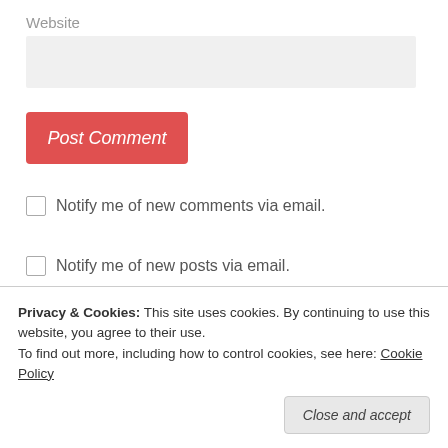Website
[Figure (screenshot): Empty text input field for Website, light gray background]
[Figure (screenshot): Red 'Post Comment' button with white italic text]
Notify me of new comments via email.
Notify me of new posts via email.
This site uses Akismet to reduce spam. Learn how your
Privacy & Cookies: This site uses cookies. By continuing to use this website, you agree to their use.
To find out more, including how to control cookies, see here: Cookie Policy
Close and accept